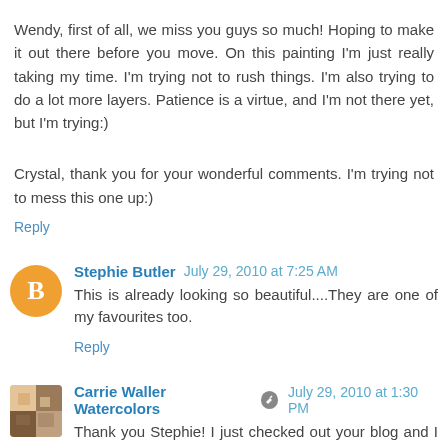Wendy, first of all, we miss you guys so much! Hoping to make it out there before you move. On this painting I'm just really taking my time. I'm trying not to rush things. I'm also trying to do a lot more layers. Patience is a virtue, and I'm not there yet, but I'm trying:)
Crystal, thank you for your wonderful comments. I'm trying not to mess this one up:)
Reply
Stephie Butler  July 29, 2010 at 7:25 AM
This is already looking so beautiful....They are one of my favourites too.
Reply
Carrie Waller Watercolors  July 29, 2010 at 1:30 PM
Thank you Stephie! I just checked out your blog and I love it! Thanks again for stopping by and becoming a follower,